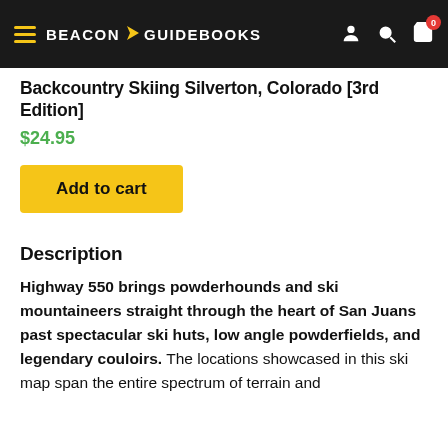BEACON GUIDEBOOKS
Backcountry Skiing Silverton, Colorado [3rd Edition]
$24.95
Add to cart
Description
Highway 550 brings powderhounds and ski mountaineers straight through the heart of San Juans past spectacular ski huts, low angle powderfields, and legendary couloirs. The locations showcased in this ski map span the entire spectrum of terrain and